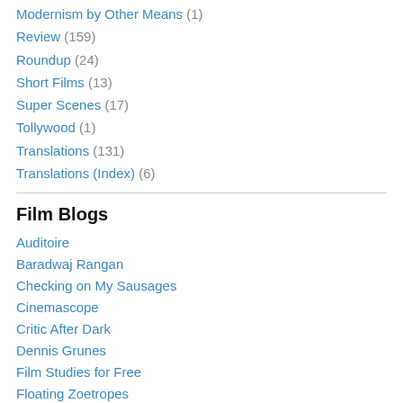Modernism by Other Means (1)
Review (159)
Roundup (24)
Short Films (13)
Super Scenes (17)
Tollywood (1)
Translations (131)
Translations (Index) (6)
Film Blogs
Auditoire
Baradwaj Rangan
Checking on My Sausages
Cinemascope
Critic After Dark
Dennis Grunes
Film Studies for Free
Floating Zoetropes
Girish Shambu